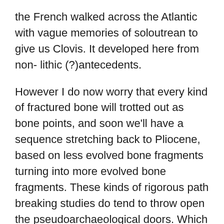the French walked across the Atlantic with vague memories of soloutrean to give us Clovis. It developed here from non- lithic (?)antecedents.
However I do now worry that every kind of fractured bone will trotted out as bone points, and soon we'll have a sequence stretching back to Pliocene, based on less evolved bone fragments turning into more evolved bone fragments. These kinds of rigorous path breaking studies do tend to throw open the pseudoarchaeological doors. Which is why I suspect that pre-Clovis got such a rough ride for many years.
Does it let humans off the hook for megafaunal extinction? probably not. In every single other